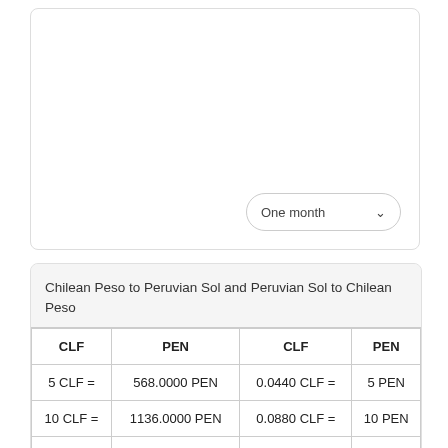[Figure (continuous-plot): Line chart showing Chilean Peso to Peruvian Sol exchange rate over one month period. A dropdown selector showing 'One month' is visible in the bottom-right of the chart box.]
| CLF | PEN | CLF | PEN |
| --- | --- | --- | --- |
| 5 CLF = | 568.0000 PEN | 0.0440 CLF = | 5 PEN |
| 10 CLF = | 1136.0000 PEN | 0.0880 CLF = | 10 PEN |
| 20 CLF = | 2272.0000 PEN | 0.1761 CLF = | 20 PEN |